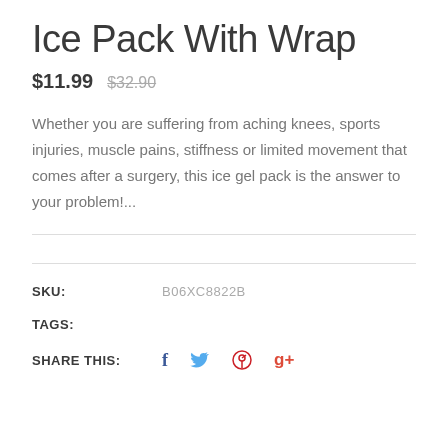Ice Pack With Wrap
$11.99  $32.90
Whether you are suffering from aching knees, sports injuries, muscle pains, stiffness or limited movement that comes after a surgery, this ice gel pack is the answer to your problem!...
SKU:  B06XC8822B
TAGS:
SHARE THIS: